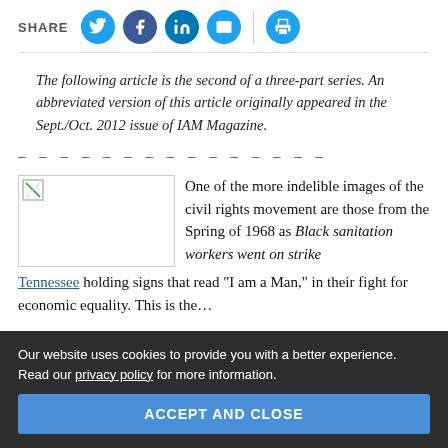SHARE
The following article is the second of a three-part series. An abbreviated version of this article originally appeared in the Sept./Oct. 2012 issue of IAM Magazine.
– – – – – – – – – – – – – – –
[Figure (photo): Broken image placeholder on left, article text on right: One of the more indelible images of the civil rights movement are those from the Spring of 1968 as Black sanitation workers went on strike]
Tennessee holding signs that read "I am a Man," in their fight for economic equality. This is the…
Our website uses cookies to provide you with a better experience. Read our privacy policy for more information. ACCEPT AND CLOSE